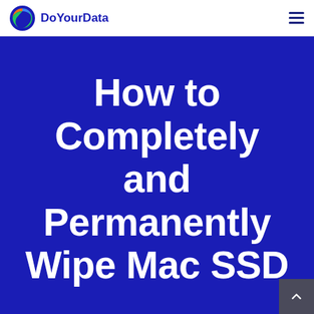DoYourData
How to Completely and Permanently Wipe Mac SSD